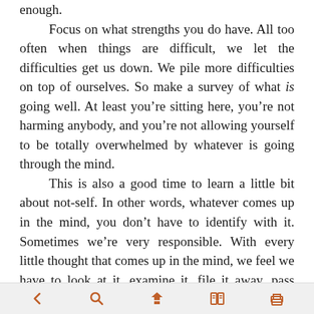enough.

Focus on what strengths you do have. All too often when things are difficult, we let the difficulties get us down. We pile more difficulties on top of ourselves. So make a survey of what is going well. At least you’re sitting here, you’re not harming anybody, and you’re not allowing yourself to be totally overwhelmed by whatever is going through the mind.

This is also a good time to learn a little bit about not-self. In other words, whatever comes up in the mind, you don’t have to identify with it. Sometimes we’re very responsible. With every little thought that comes up in the mind, we feel we have to look at it, examine it, file it away, pass judgment on it as to whether it’s useful or not. For the time being, though, you don’t have to be responsible for any of these thoughts. You have one thought you want to hold on to. You want to stay alert in the present moment. If you can stay with the breath, try to notice where the breath is in the midst of all this, and just hang on. As for anything else that comes by, learn how to
[Figure (other): Mobile reader toolbar with back, search, bookmark-navigation, book/reader, and print icons in orange/brown color on light gray background]